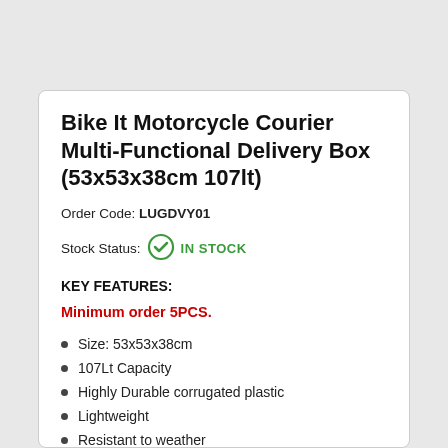Bike It Motorcycle Courier Multi-Functional Delivery Box (53x53x38cm 107lt)
Order Code: LUGDVY01
Stock Status: IN STOCK
KEY FEATURES:
Minimum order 5PCS.
Size: 53x53x38cm
107Lt Capacity
Highly Durable corrugated plastic
Lightweight
Resistant to weather